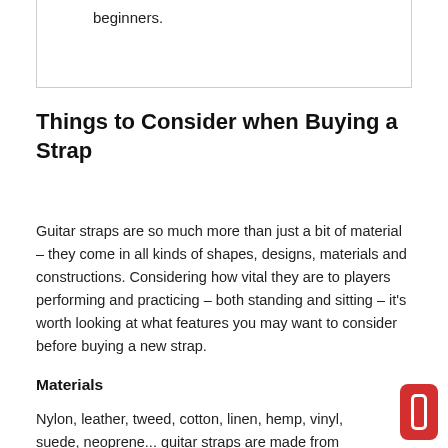beginners.
Things to Consider when Buying a Strap
Guitar straps are so much more than just a bit of material – they come in all kinds of shapes, designs, materials and constructions. Considering how vital they are to players performing and practicing – both standing and sitting – it's worth looking at what features you may want to consider before buying a new strap.
Materials
Nylon, leather, tweed, cotton, linen, hemp, vinyl, suede, neoprene... guitar straps are made from